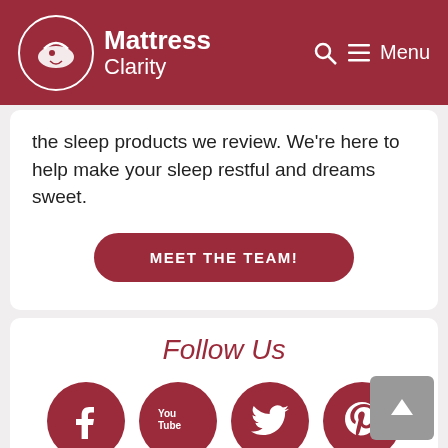Mattress Clarity
the sleep products we review. We're here to help make your sleep restful and dreams sweet.
MEET THE TEAM!
Follow Us
[Figure (illustration): Four social media icons in dark red circles: Facebook, YouTube, Twitter, Pinterest]